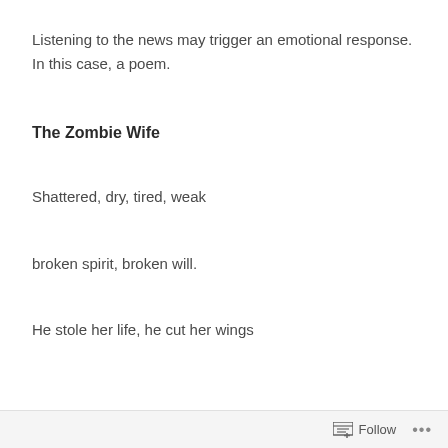Listening to the news may trigger an emotional response. In this case, a poem.
The Zombie Wife
Shattered, dry, tired, weak
broken spirit, broken will.
He stole her life, he cut her wings
Follow ...